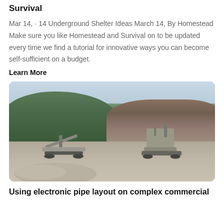Survival
Mar 14,  · 14 Underground Shelter Ideas March 14, By Homestead Make sure you like Homestead and Survival on to be updated every time we find a tutorial for innovative ways you can become self-sufficient on a budget.
Learn More
[Figure (photo): A quarry or mining site with large mobile rock crushing machinery in the foreground. Green hills and rocky terrain visible in the background under a hazy sky.]
Using electronic pipe layout on complex commercial